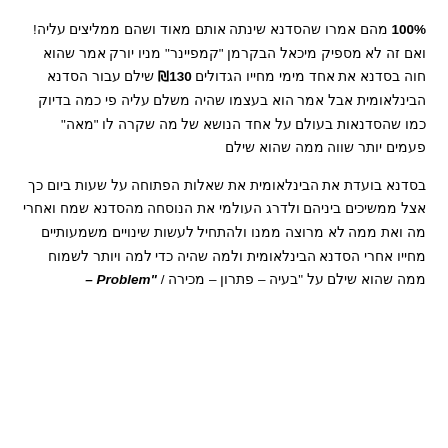100% מהם אמרו שהסדנא שינתה אותם מאוד ושהם ממליצים עליה! ואם זה לא מספיק מיכאל הבקרמן "קמפיינר" מניו יורק אמר שהוא חוה בסדנא את אחד מימי מחייו הגדולים ₪130 שילם עבור הסדנא הבינלאומית אבל אמר הוא בעצמו שהיה משלם עליה פי כמה בדיוק כמו שהסדנאות בעולם על אחד הנושא של מה שקרה לו "מאה" פעמים יותר שווה ממה שהוא שילם
בסדנא בועדת את הבינלאומית את שאלות הפתוחה על שעות ביום כך אצל ממשיכים ביניהם ולדרג העולמי את הנוסחה מהסדנא שמח ואחרי מה ואת ממה לא מרוצה ממנו ולהתחיל לעשות שינויים משמעותיים מחייו אחרי הסדנא הבינלאומית ולמה שהיה כדי למה ויותר לשמוח ממה שהוא שילם על "בעיה – פתרון – מכירה / "Problem –